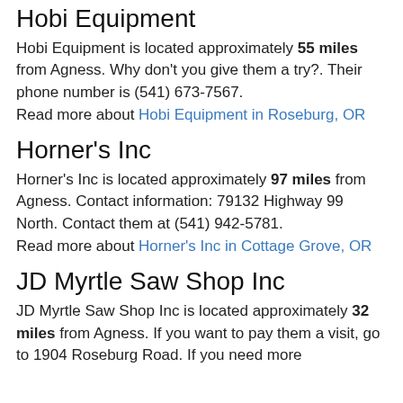Hobi Equipment
Hobi Equipment is located approximately 55 miles from Agness. Why don't you give them a try?. Their phone number is (541) 673-7567.
Read more about Hobi Equipment in Roseburg, OR
Horner's Inc
Horner's Inc is located approximately 97 miles from Agness. Contact information: 79132 Highway 99 North. Contact them at (541) 942-5781.
Read more about Horner's Inc in Cottage Grove, OR
JD Myrtle Saw Shop Inc
JD Myrtle Saw Shop Inc is located approximately 32 miles from Agness. If you want to pay them a visit, go to 1904 Roseburg Road. If you need more